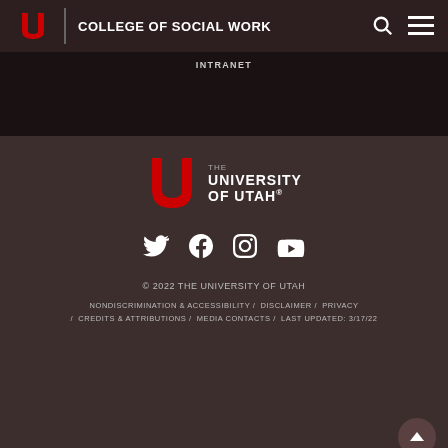COLLEGE OF SOCIAL WORK
INTRANET
[Figure (logo): The University of Utah logo with red block U and text THE UNIVERSITY OF UTAH]
[Figure (other): Social media icons: Twitter, Facebook, Instagram, YouTube]
© 2022 THE UNIVERSITY OF UTAH
NONDISCRIMINATION & ACCESSIBILITY / DISCLAIMER / PRIVACY / CREDITS & ATTRIBUTIONS / MEDIA CONTACTS / LAST UPDATED: 3/17/22